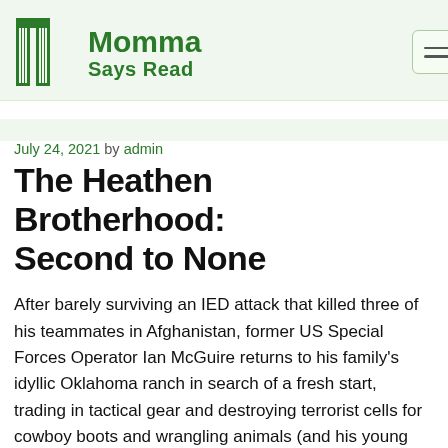Momma Says Read
July 24, 2021 by admin
The Heathen Brotherhood: Second to None
After barely surviving an IED attack that killed three of his teammates in Afghanistan, former US Special Forces Operator Ian McGuire returns to his family's idyllic Oklahoma ranch in search of a fresh start, trading in tactical gear and destroying terrorist cells for cowboy boots and wrangling animals (and his young nephews). The last thing he expects to find out in the remote countryside is love, until the new nanny arrives. When Ian first meets Charlotte “Lottie” Poole arrives, he is determined